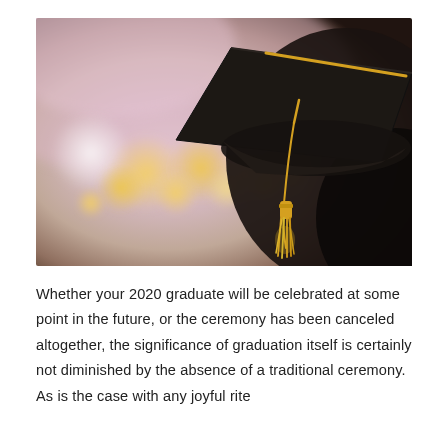[Figure (photo): Close-up photo of a black graduation mortarboard cap with a gold/yellow tassel, set against a blurred bokeh background with warm golden lights and soft pink tones.]
Whether your 2020 graduate will be celebrated at some point in the future, or the ceremony has been canceled altogether, the significance of graduation itself is certainly not diminished by the absence of a traditional ceremony.  As is the case with any joyful rite